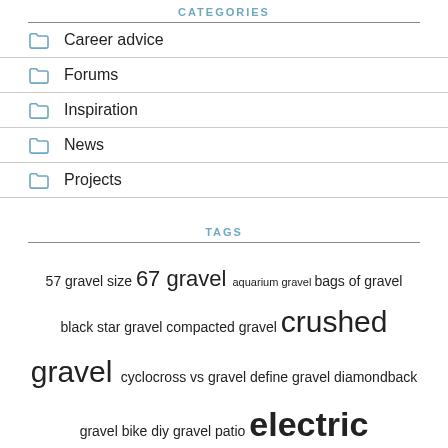CATEGORIES
Career advice
Forums
Inspiration
News
Projects
TAGS
57 gravel size 67 gravel aquarium gravel bags of gravel black star gravel compacted gravel crushed gravel cyclocross vs gravel define gravel diamondback gravel bike diy gravel patio electric gravel bike fish gravel fuji gravel